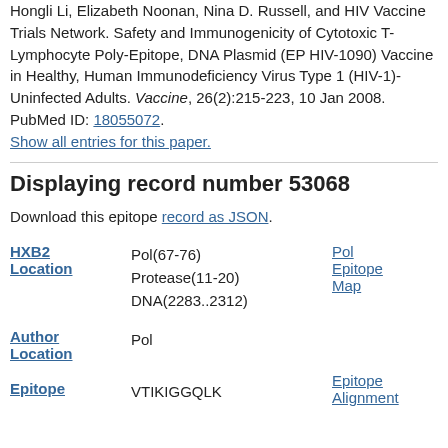Hongli Li, Elizabeth Noonan, Nina D. Russell, and HIV Vaccine Trials Network. Safety and Immunogenicity of Cytotoxic T-Lymphocyte Poly-Epitope, DNA Plasmid (EP HIV-1090) Vaccine in Healthy, Human Immunodeficiency Virus Type 1 (HIV-1)-Uninfected Adults. Vaccine, 26(2):215-223, 10 Jan 2008. PubMed ID: 18055072. Show all entries for this paper.
Displaying record number 53068
Download this epitope record as JSON.
|  | Location | Link |
| --- | --- | --- |
| HXB2 Location | Pol(67-76)
Protease(11-20)
DNA(2283..2312) | Pol Epitope Map |
| Author Location | Pol |  |
| Epitope | VTIKIGGQLK | Epitope Alignment |